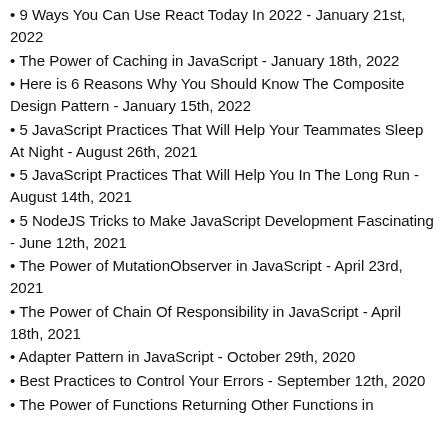9 Ways You Can Use React Today In 2022 - January 21st, 2022
The Power of Caching in JavaScript - January 18th, 2022
Here is 6 Reasons Why You Should Know The Composite Design Pattern - January 15th, 2022
5 JavaScript Practices That Will Help Your Teammates Sleep At Night - August 26th, 2021
5 JavaScript Practices That Will Help You In The Long Run - August 14th, 2021
5 NodeJS Tricks to Make JavaScript Development Fascinating - June 12th, 2021
The Power of MutationObserver in JavaScript - April 23rd, 2021
The Power of Chain Of Responsibility in JavaScript - April 18th, 2021
Adapter Pattern in JavaScript - October 29th, 2020
Best Practices to Control Your Errors - September 12th, 2020
The Power of Functions Returning Other Functions in